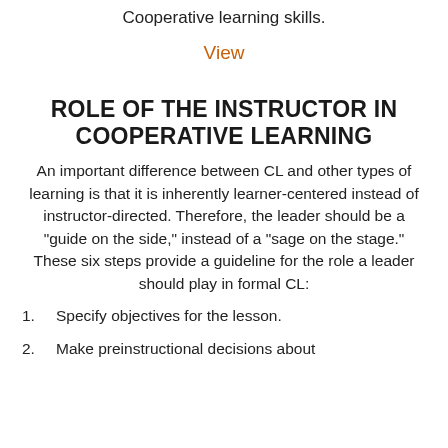Cooperative learning skills.
View
ROLE OF THE INSTRUCTOR IN COOPERATIVE LEARNING
An important difference between CL and other types of learning is that it is inherently learner-centered instead of instructor-directed. Therefore, the leader should be a "guide on the side," instead of a "sage on the stage." These six steps provide a guideline for the role a leader should play in formal CL:
Specify objectives for the lesson.
Make preinstructional decisions about...